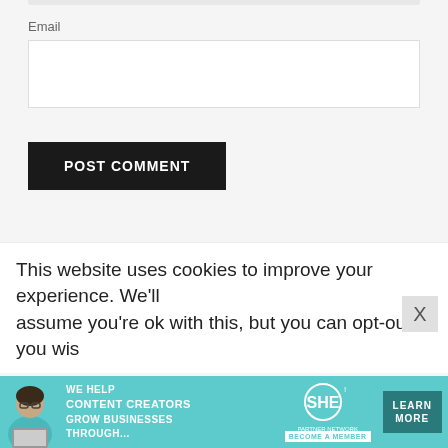Email
POST COMMENT
FIND SOMETHING HERE
Search ...
This website uses cookies to improve your experience. We'll assume you're ok with this, but you can opt-out if you wis
[Figure (screenshot): SHE partner network advertisement banner with teal background showing a woman with laptop, WE HELP CONTENT CREATORS GROW BUSINESSES THROUGH... text, SHE logo, LEARN MORE button and BECOME A MEMBER label]